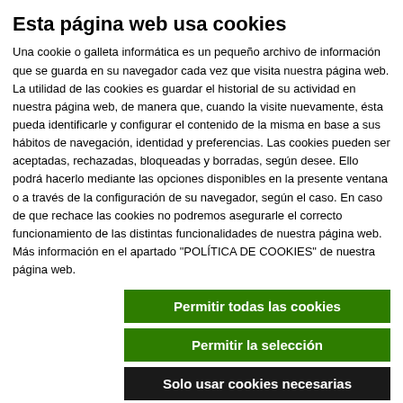Esta página web usa cookies
Una cookie o galleta informática es un pequeño archivo de información que se guarda en su navegador cada vez que visita nuestra página web. La utilidad de las cookies es guardar el historial de su actividad en nuestra página web, de manera que, cuando la visite nuevamente, ésta pueda identificarle y configurar el contenido de la misma en base a sus hábitos de navegación, identidad y preferencias. Las cookies pueden ser aceptadas, rechazadas, bloqueadas y borradas, según desee. Ello podrá hacerlo mediante las opciones disponibles en la presente ventana o a través de la configuración de su navegador, según el caso. En caso de que rechace las cookies no podremos asegurarle el correcto funcionamiento de las distintas funcionalidades de nuestra página web. Más información en el apartado "POLÍTICA DE COOKIES" de nuestra página web.
Permitir todas las cookies
Permitir la selección
Solo usar cookies necesarias
Necesario  Preferencias  Estadística  Marketing  Mostrar detalles
to use it for their own benefit.
Will we use your data for other purposes?